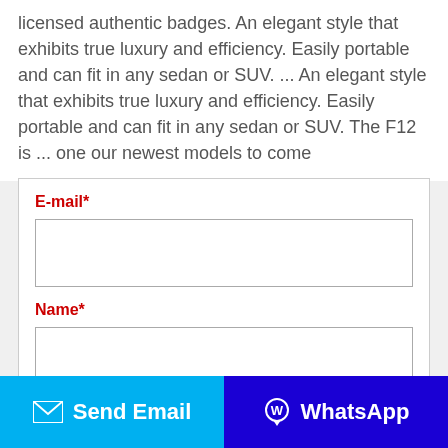licensed authentic badges. An elegant style that exhibits true luxury and efficiency. Easily portable and can fit in any sedan or SUV. … An elegant style that exhibits true luxury and efficiency. Easily portable and can fit in any sedan or SUV. The F12 is … one our newest models to come
E-mail*
Name*
Whatsapp/Tel
Send Email
WhatsApp